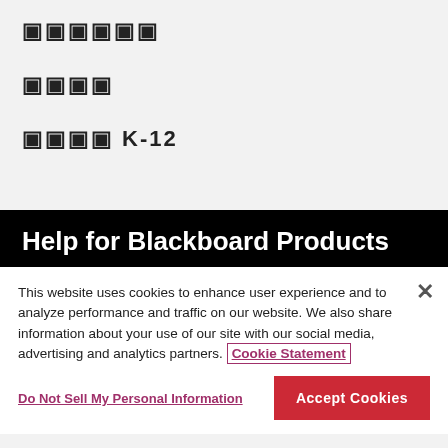🔲🔲🔲🔲🔲🔲
🔲🔲🔲🔲
🔲🔲🔲🔲 K-12
Help for Blackboard Products
This website uses cookies to enhance user experience and to analyze performance and traffic on our website. We also share information about your use of our site with our social media, advertising and analytics partners. Cookie Statement
Do Not Sell My Personal Information
Accept Cookies